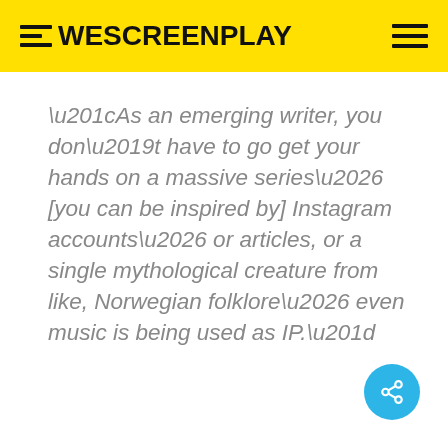WeScreenplay
“As an emerging writer, you don’t have to go get your hands on a massive series… [you can be inspired by] Instagram accounts… or articles, or a single mythological creature from like, Norwegian folklore… even music is being used as IP.”